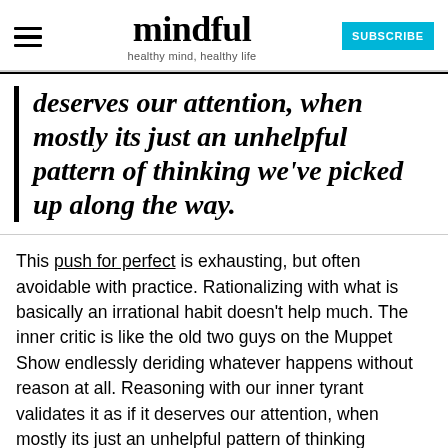mindful — healthy mind, healthy life | SUBSCRIBE
deserves our attention, when mostly its just an unhelpful pattern of thinking we've picked up along the way.
This push for perfect is exhausting, but often avoidable with practice. Rationalizing with what is basically an irrational habit doesn't help much. The inner critic is like the old two guys on the Muppet Show endlessly deriding whatever happens without reason at all. Reasoning with our inner tyrant validates it as if it deserves our attention, when mostly its just an unhelpful pattern of thinking we've picked up along the way.